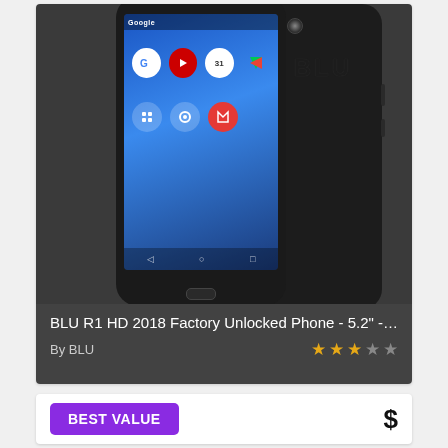[Figure (photo): BLU R1 HD 2018 smartphone shown from front and back angles. Front shows Android homescreen with Google, Camera, Calendar, Play Store icons. Back shows BLU logo, camera lens.]
BLU R1 HD 2018 Factory Unlocked Phone - 5.2" - 16GB - Bla...
By BLU
★ ★ ★ ☆ ☆
BEST VALUE
$